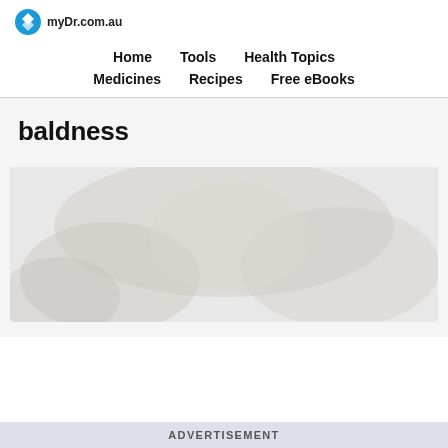myDr.com.au
Home   Tools   Health Topics   Medicines   Recipes   Free eBooks
baldness
[Figure (photo): Partial view of a person's head showing baldness/hair loss]
ADVERTISEMENT